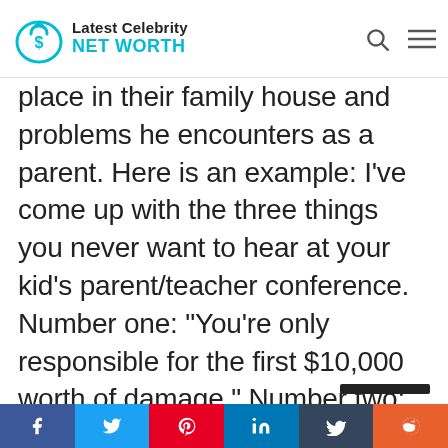Latest Celebrity NET WORTH
place in their family house and problems he encounters as a parent. Here is an example: I've come up with the three things you never want to hear at your kid's parent/teacher conference. Number one: “You're only responsible for the first $10,000 worth of damage.” Number two: “We have medication for this.” And number three: “It was more than an ounce and he was less than a
f  t  p  in  t  (reddit icon)